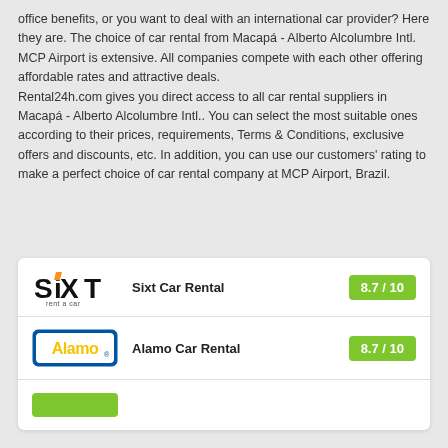office benefits, or you want to deal with an international car provider? Here they are. The choice of car rental from Macapá - Alberto Alcolumbre Intl. MCP Airport is extensive. All companies compete with each other offering affordable rates and attractive deals. Rental24h.com gives you direct access to all car rental suppliers in Macapá - Alberto Alcolumbre Intl.. You can select the most suitable ones according to their prices, requirements, Terms & Conditions, exclusive offers and discounts, etc. In addition, you can use our customers' rating to make a perfect choice of car rental company at MCP Airport, Brazil.
[Figure (other): Sixt Car Rental card with logo and rating 8.7/10]
[Figure (other): Alamo Car Rental card with logo and rating 8.7/10]
[Figure (other): Partial card row showing a green logo bar at the bottom]